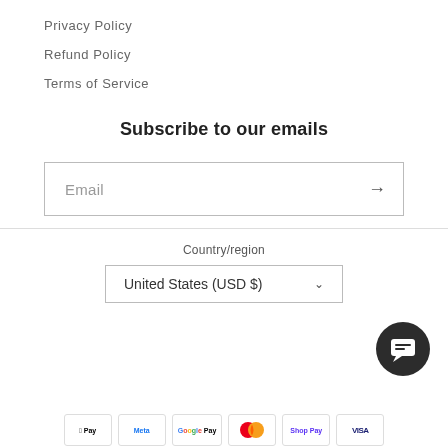Privacy Policy
Refund Policy
Terms of Service
Subscribe to our emails
Email
Country/region
United States (USD $)
[Figure (other): Chat support button icon (dark circle with message bubble icon)]
[Figure (other): Payment method icons: Apple Pay, Meta Pay, Google Pay, Mastercard, ShopPay, Visa]